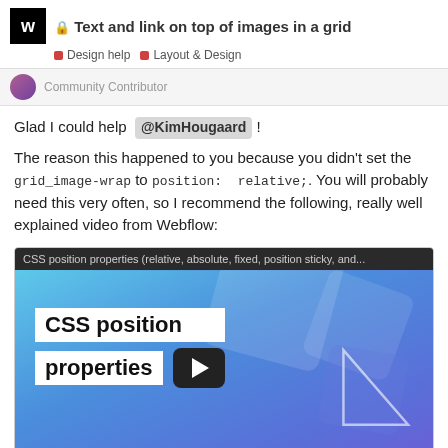Text and link on top of images in a grid | Design help | Layout & Design
Community Contributor
Glad I could help @KimHougaard !
The reason this happened to you because you didn't set the grid_image-wrap to position: relative;. You will probably need this very often, so I recommend the following, really well explained video from Webflow:
[Figure (screenshot): Video thumbnail for 'CSS position properties (relative, absolute, fixed, position sticky, and...' from Webflow University, showing CSS position properties title card with play button over a blue gradient background.]